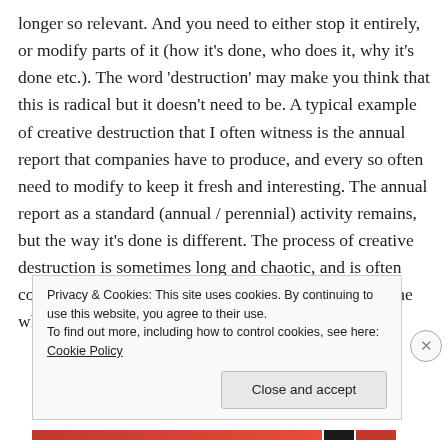longer so relevant. And you need to either stop it entirely, or modify parts of it (how it's done, who does it, why it's done etc.). The word 'destruction' may make you think that this is radical but it doesn't need to be. A typical example of creative destruction that I often witness is the annual report that companies have to produce, and every so often need to modify to keep it fresh and interesting. The annual report as a standard (annual / perennial) activity remains, but the way it's done is different. The process of creative destruction is sometimes long and chaotic, and is often confusing. You first need to draw lessons. to identify the wheat from
Privacy & Cookies: This site uses cookies. By continuing to use this website, you agree to their use.
To find out more, including how to control cookies, see here: Cookie Policy
Close and accept